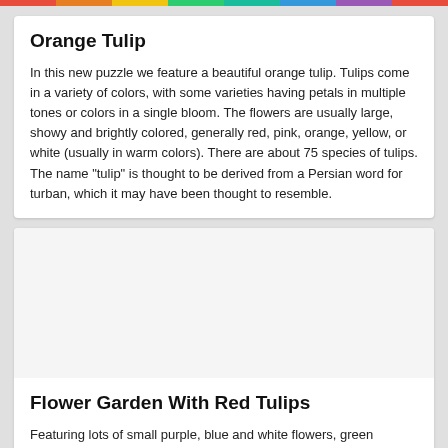Orange Tulip
In this new puzzle we feature a beautiful orange tulip. Tulips come in a variety of colors, with some varieties having petals in multiple tones or colors in a single bloom. The flowers are usually large, showy and brightly colored, generally red, pink, orange, yellow, or white (usually in warm colors). There are about 75 species of tulips. The name "tulip" is thought to be derived from a Persian word for turban, which it may have been thought to resemble.
[Figure (photo): Empty image area placeholder for a flower garden photo]
Flower Garden With Red Tulips
Featuring lots of small purple, blue and white flowers, green leaves, a couple of dandelions and some beautiful red tulips, today’s puzzle is truly challenging. Think you can solve it? Click start and give it a try!